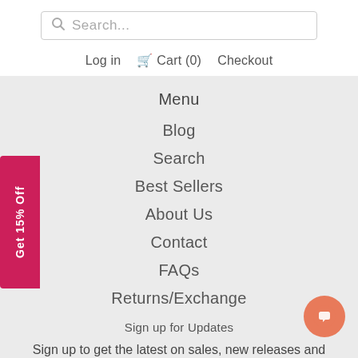[Figure (screenshot): Search input box with magnifying glass icon and placeholder text 'Search...']
Log in  🛒 Cart (0)  Checkout
Menu
Blog
Search
Best Sellers
About Us
Contact
FAQs
Returns/Exchange
Sign up for Updates
Sign up to get the latest on sales, new releases and more...
[Figure (other): GetButton chat widget - orange circular button with message icon, and GetButton branding text below]